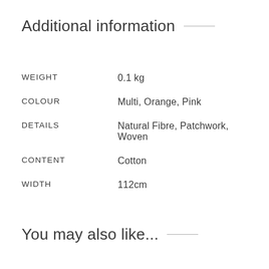Additional information
| Attribute | Value |
| --- | --- |
| WEIGHT | 0.1 kg |
| COLOUR | Multi, Orange, Pink |
| DETAILS | Natural Fibre, Patchwork, Woven |
| CONTENT | Cotton |
| WIDTH | 112cm |
You may also like...